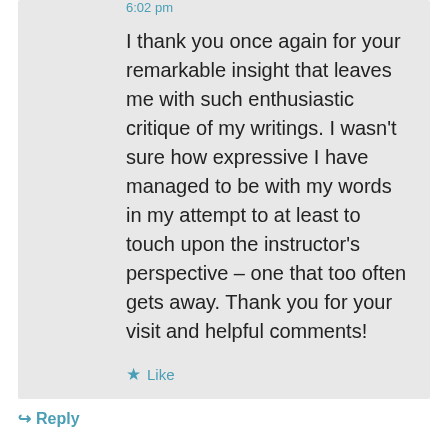6:02 pm
I thank you once again for your remarkable insight that leaves me with such enthusiastic critique of my writings. I wasn't sure how expressive I have managed to be with my words in my attempt to at least to touch upon the instructor's perspective – one that too often gets away. Thank you for your visit and helpful comments!
★ Like
↳ Reply